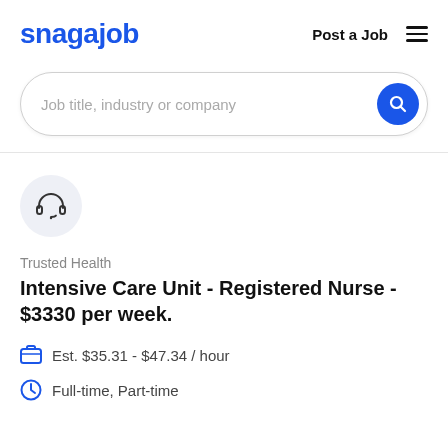snagajob   Post a Job  ≡
Job title, industry or company
Trusted Health
Intensive Care Unit - Registered Nurse - $3330 per week.
Est. $35.31 - $47.34 / hour
Full-time, Part-time